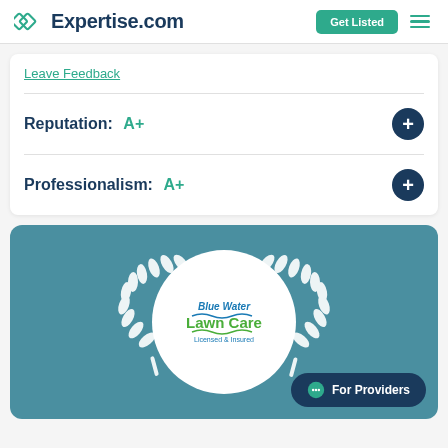Expertise.com
Leave Feedback
Reputation: A+
Professionalism: A+
[Figure (logo): Blue Water Lawn Care logo in a white circle with white laurel wreath on teal background]
For Providers